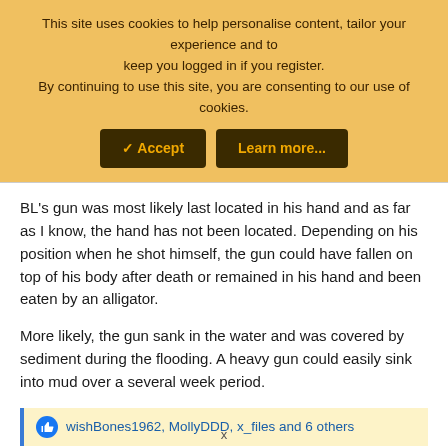This site uses cookies to help personalise content, tailor your experience and to keep you logged in if you register.
By continuing to use this site, you are consenting to our use of cookies.
BL's gun was most likely last located in his hand and as far as I know, the hand has not been located. Depending on his position when he shot himself, the gun could have fallen on top of his body after death or remained in his hand and been eaten by an alligator.
More likely, the gun sank in the water and was covered by sediment during the flooding. A heavy gun could easily sink into mud over a several week period.
wishBones1962, MollyDDD, x_files and 6 others